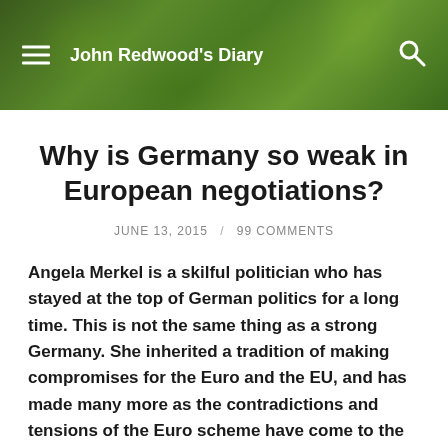John Redwood's Diary
Why is Germany so weak in European negotiations?
JUNE 13, 2015 / 99 COMMENTS
Angela Merkel is a skilful politician who has stayed at the top of German politics for a long time. This is not the same thing as a strong Germany. She inherited a tradition of making compromises for the Euro and the EU, and has made many more as the contradictions and tensions of the Euro scheme have come to the fore. Judging by what Germany has done on a whole range of “red lines”, we must conclude that Germany does give in to pressure if